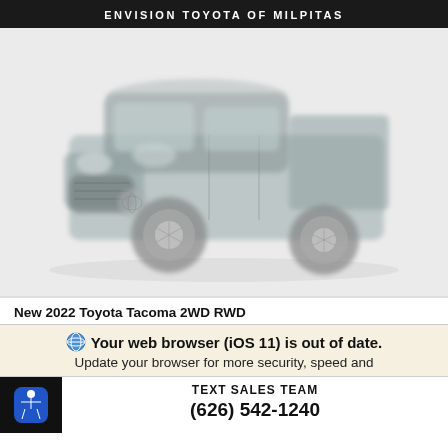ENVISION TOYOTA OF MILPITAS
[Figure (photo): A dark gray 2022 Toyota Tacoma 2WD RWD pickup truck shown in a 3/4 front angle view against a light gray/white background. The image appears slightly faded/washed out.]
New 2022 Toyota Tacoma 2WD RWD
Your web browser (iOS 11) is out of date. Update your browser for more security, speed and
TEXT SALES TEAM
(626) 542-1240